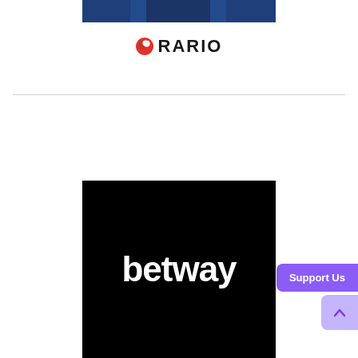[Figure (photo): Top portion of a person wearing a navy/dark blue outfit, cropped to show lower body/torso area]
[Figure (logo): Rario logo: red circular icon with white design on left, bold black text 'RARIO' in uppercase with wide letter-spacing]
[Figure (logo): Betway logo: white bold lowercase text 'betway' on solid black background]
[Figure (other): Purple 'Support Us' button overlay in bottom right corner, with a lighter purple scroll-to-top arrow button below it]